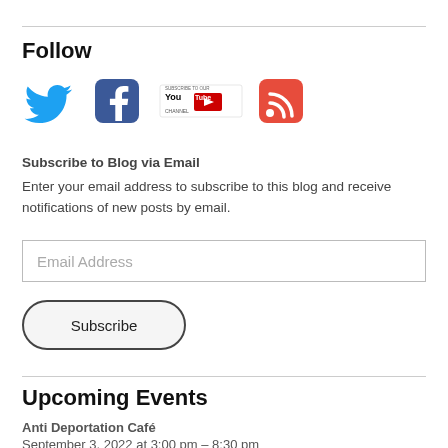Follow
[Figure (infographic): Social media icons row: Twitter bird (blue), Facebook (blue square with white f), YouTube Subscribe to Our Channel (red and white), RSS feed (red square with white signal icon)]
Subscribe to Blog via Email
Enter your email address to subscribe to this blog and receive notifications of new posts by email.
Email Address
Subscribe
Upcoming Events
Anti Deportation Café
September 3, 2022 at 3:00 pm – 8:30 pm